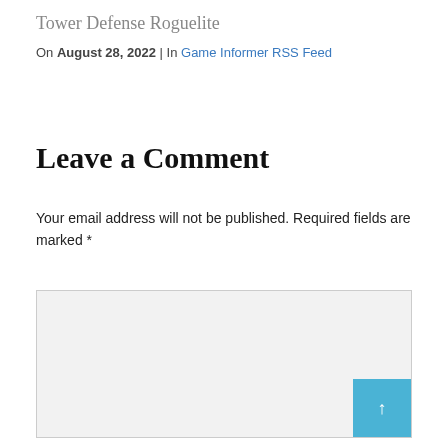Tower Defense Roguelite
On August 28, 2022 | In Game Informer RSS Feed
Leave a Comment
Your email address will not be published. Required fields are marked *
[Figure (screenshot): Empty comment textarea input box with light gray background and border, and a blue scroll-to-top button in the bottom right corner with an upward arrow.]